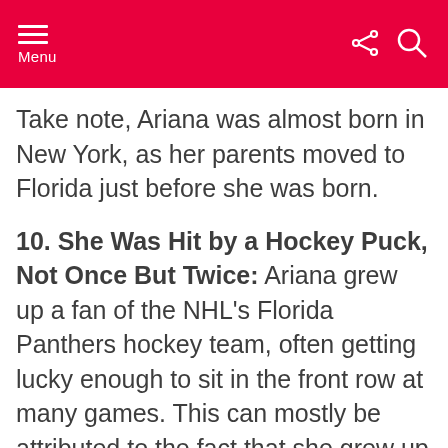Menu
Take note, Ariana was almost born in New York, as her parents moved to Florida just before she was born.
10. She Was Hit by a Hockey Puck, Not Once But Twice: Ariana grew up a fan of the NHL's Florida Panthers hockey team, often getting lucky enough to sit in the front row at many games. This can mostly be attributed to the fact that she grew up in Boca Raton, Florida. Unfortunately, she was hit by a puck at two different games in 1998,